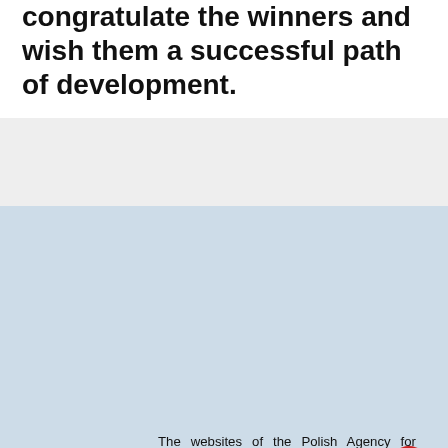congratulate the winners and wish them a successful path of development.
[Figure (illustration): Cookie consent popup with cookie icon on light blue background and close button]
The websites of the Polish Agency for Enterprise Development use cookies to help Internet users use our websites and for statistical purposes. If you do not block these files, you agree to use them and save them in the memory of your computer or other device. Remember that you can change your browser settings yourself to block the storage of cookies.